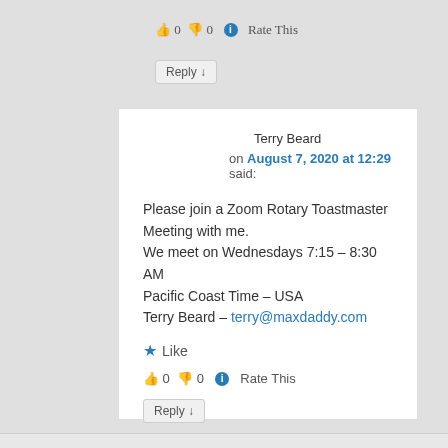👍 0 👎 0 ℹ Rate This
Reply ↓
Terry Beard
on August 7, 2020 at 12:29 said:
Please join a Zoom Rotary Toastmaster Meeting with me.
We meet on Wednesdays 7:15 – 8:30 AM
Pacific Coast Time – USA
Terry Beard – terry@maxdaddy.com
★ Like
👍 0 👎 0 ℹ Rate This
Reply ↓